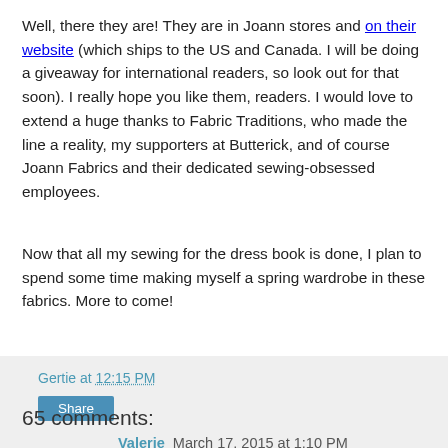Well, there they are! They are in Joann stores and on their website (which ships to the US and Canada. I will be doing a giveaway for international readers, so look out for that soon). I really hope you like them, readers. I would love to extend a huge thanks to Fabric Traditions, who made the line a reality, my supporters at Butterick, and of course Joann Fabrics and their dedicated sewing-obsessed employees.
Now that all my sewing for the dress book is done, I plan to spend some time making myself a spring wardrobe in these fabrics. More to come!
Gertie at 12:15 PM
Share
65 comments:
Valerie  March 17, 2015 at 1:10 PM